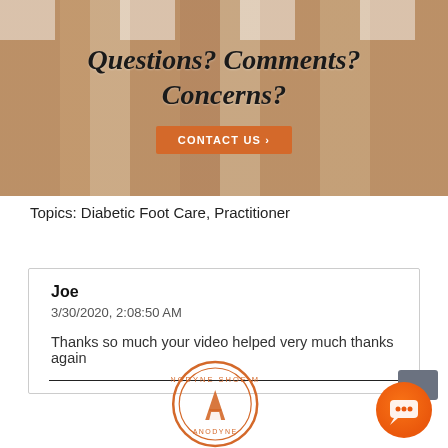[Figure (photo): Hero banner with fuzzy slippers/moccasins in tan/beige tones with white fur trim, with overlaid italic bold text 'Questions? Comments? Concerns?' and an orange 'CONTACT US ›' button]
Topics: Diabetic Foot Care, Practitioner
Joe
3/30/2020, 2:08:50 AM

Thanks so much your video helped very much thanks again
[Figure (logo): Anodyne Shoe Mfg circular orange logo with stylized shoe icon]
[Figure (other): Chat widget button in orange/gray gradient circle]